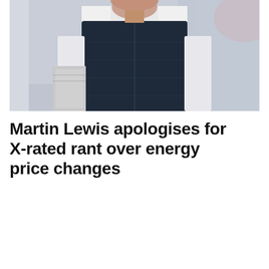[Figure (photo): A man wearing a dark navy quilted puffer vest over a white dress shirt, carrying documents or a folder under his arm, walking in a blurred urban or office corridor background.]
Martin Lewis apologises for X-rated rant over energy price changes